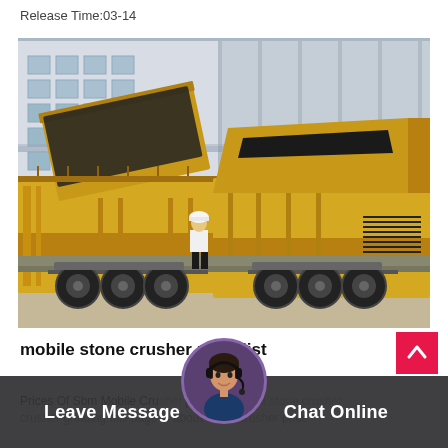Release Time:03-14
[Figure (photo): Large yellow mobile stone crusher machine mounted on truck trailer inside an industrial building, with a worker in white helmet and shirt standing in front of it. The machine has conveyor belts, hoppers, and multiple crushing components. Industrial building with large windows visible in the background.]
mobile stone crusher price list
Prices Of Sbm Mobile Crusher price list, about stone crusher grinding mill page is about stone crusher price
Leave Message   Chat Online